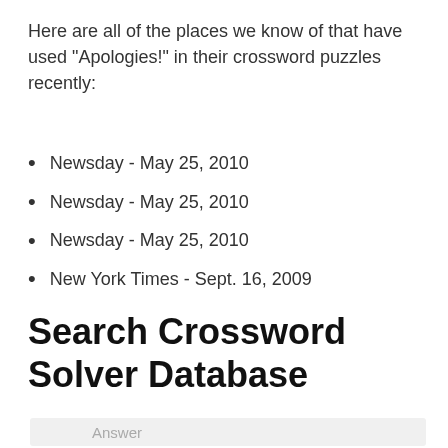Here are all of the places we know of that have used "Apologies!" in their crossword puzzles recently:
Newsday - May 25, 2010
Newsday - May 25, 2010
Newsday - May 25, 2010
New York Times - Sept. 16, 2009
Search Crossword Solver Database
Answer